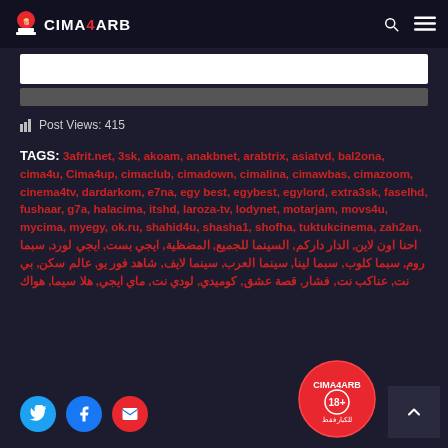CIMA4ARB
[Figure (other): Search bar with white and gray input fields]
Post Views: 415
TAGS: 3afrit.net, 3sk, akoam, anakbnet, arabtrix, asiatvd, bal2ona, cima4u, Cima4up, cimaclub, cimadown, cimalina, cimawbas, cimazoom, cinema4tv, dardarkom, e7na, egy best, egybest, egylord, extra3sk, faselhd, fushaar, g7a, halacima, itshd, laroza-tv, lodynet, motarjam, movs4u, mycima, myegy, ok.ru, shahid4u, shasha1, shofha, tuktukcinema, zah2an, احنا اون لاين, الدار داركم, السينما للجميع, المضظية, ايجي بست, ايجي لورد, سبما روم, سبما كلوب, سبما لينا, سينما العرب, سينما لايف, شاهد فور يو, عالم سكن, بي نت, عناكب نت, فشار, قصة عشق, كوميدي, لودي نت, ماي ايجي, هلا سيما, هواك